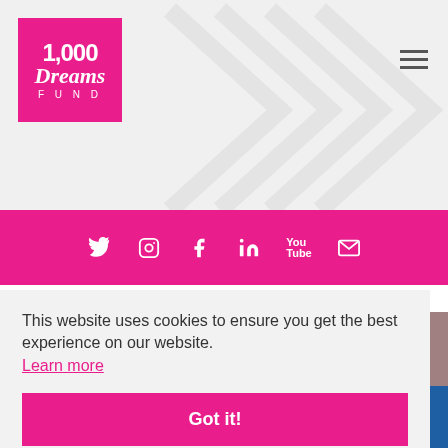[Figure (logo): 1,000 Dreams Fund logo — white text on magenta/pink square background]
[Figure (infographic): Social media icon bar (Twitter, Instagram, Facebook, LinkedIn, YouTube, Email) on magenta background]
This website uses cookies to ensure you get the best experience on our website. Learn more
Got it!
Shares